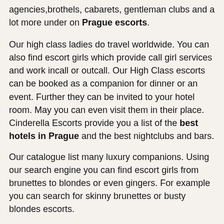agencies,brothels, cabarets, gentleman clubs and a lot more under on Prague escorts.
Our high class ladies do travel worldwide. You can also find escort girls which provide call girl services and work incall or outcall. Our High Class escorts can be booked as a companion for dinner or an event. Further they can be invited to your hotel room. May you can even visit them in their place.
Cinderella Escorts provide you a list of the best hotels in Prague and the best nightclubs and bars.
Our catalogue list many luxury companions. Using our search engine you can find escort girls from brunettes to blondes or even gingers. For example you can search for skinny brunettes or busty blondes escorts.
Further Cinderella Escorts works as sugar daddy website giving you the opportunity to find sugar girls and become a sugar daddy. Next to that you can find marriage with beautiful ladies from russia, philippines and other countries.